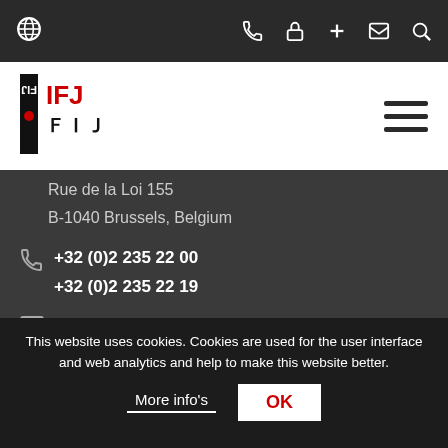IFJ website navigation top bar with globe, phone, lock, plus, mail, and search icons
[Figure (logo): IFJ / FIJ logo in black and red]
Rue de la Loi 155
B-1040 Brussels, Belgium
+32 (0)2 235 22 00
+32 (0)2 235 22 19
ifj@ifj.org
About IFJ
The International Federation of Journalists is the global voice of journalists.
This website uses cookies. Cookies are used for the user interface and web analytics and help to make this website better.